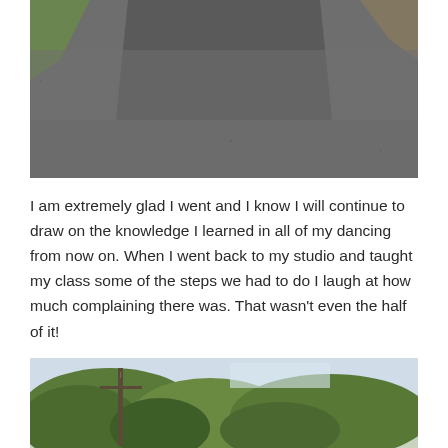[Figure (photo): A paved asphalt road or driveway viewed from ground level, stretching into the distance, with green vegetation visible on the sides.]
I am extremely glad I went and I know I will continue to draw on the knowledge I learned in all of my dancing from now on. When I went back to my studio and taught my class some of the steps we had to do I laugh at how much complaining there was. That wasn't even the half of it!
[Figure (photo): Outdoor scene with trees and sky, partially cut off at bottom of page.]